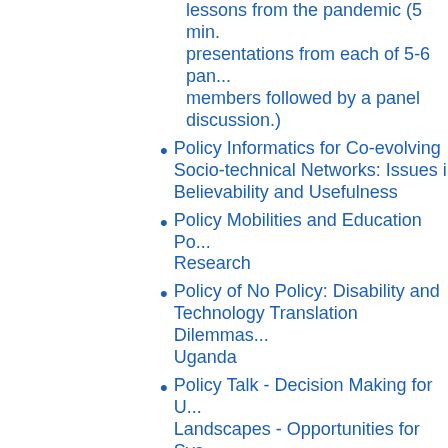lessons from the pandemic (5 min. presentations from each of 5-6 panel members followed by a panel discussion.)
Policy Informatics for Co-evolving Socio-technical Networks: Issues in Believability and Usefulness
Policy Mobilities and Education Policy Research
Policy of No Policy: Disability and Technology Translation Dilemmas in Uganda
Policy Talk - Decision Making for Urban Landscapes - Opportunities for Systems Research in Policy Development
Policy-Making in EU Security and Defense: An Institutional Perspective
Policy-Making, Religion and Conflict-Prone Settings in the US and EU
Policymaking: why it matters to us, how it works, what to do
Policymaking: why it matters to us, how it works, what to do
POLIS Department Seminar - Data Shadows and Digital Divisions of Labour: Who Creates and Controls...